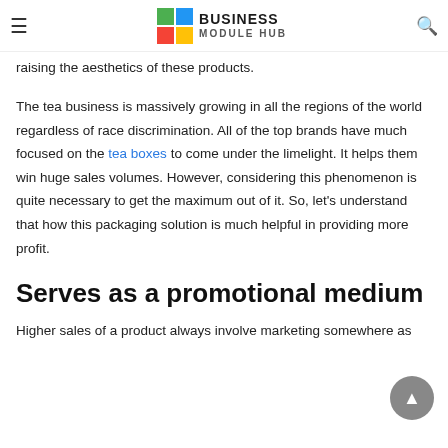BUSINESS MODULE HUB
raising the aesthetics of these products.
The tea business is massively growing in all the regions of the world regardless of race discrimination. All of the top brands have much focused on the tea boxes to come under the limelight. It helps them win huge sales volumes. However, considering this phenomenon is quite necessary to get the maximum out of it. So, let's understand that how this packaging solution is much helpful in providing more profit.
Serves as a promotional medium
Higher sales of a product always involve marketing somewhere as